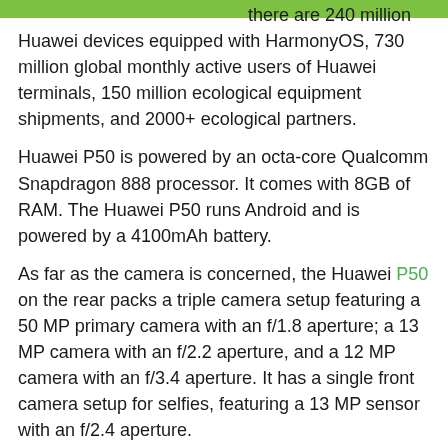there are 240 million Huawei devices equipped with HarmonyOS, 730 million global monthly active users of Huawei terminals, 150 million ecological equipment shipments, and 2000+ ecological partners.
Huawei P50 is powered by an octa-core Qualcomm Snapdragon 888 processor. It comes with 8GB of RAM. The Huawei P50 runs Android and is powered by a 4100mAh battery.
As far as the camera is concerned, the Huawei P50 on the rear packs a triple camera setup featuring a 50 MP primary camera with an f/1.8 aperture; a 13 MP camera with an f/2.2 aperture, and a 12 MP camera with an f/3.4 aperture. It has a single front camera setup for selfies, featuring a 13 MP sensor with an f/2.4 aperture.